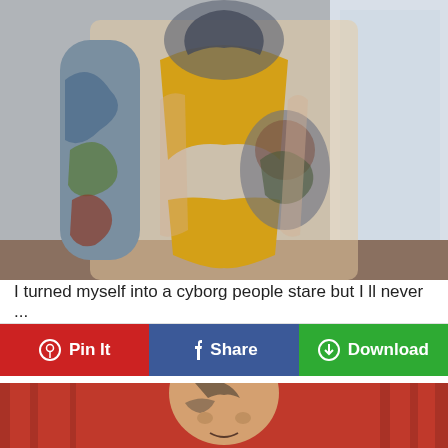[Figure (photo): A heavily tattooed woman wearing a yellow bikini/swimsuit, with tattoos covering her arms, chest, and torso, standing indoors.]
I turned myself into a cyborg people stare but I ll never ...
[Figure (infographic): Three social sharing buttons: Pin It (red, Pinterest), Share (blue, Facebook), Download (green).]
[Figure (photo): A bald man with facial tattoos in front of a red curtain background, partially visible at the bottom of the page.]